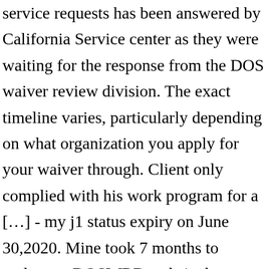service requests has been answered by California Service center as they were waiting for the response from the DOS waiver review division. The exact timeline varies, particularly depending on what organization you apply for your waiver through. Client only complied with his work program for a […] - my j1 status expiry on June 30,2020. Mine took 7 months to update on DOSWRD website but when they updated they backdated 5 months and got favorable recommendations after a day. Make sure you write down and keep the number, as you are going to